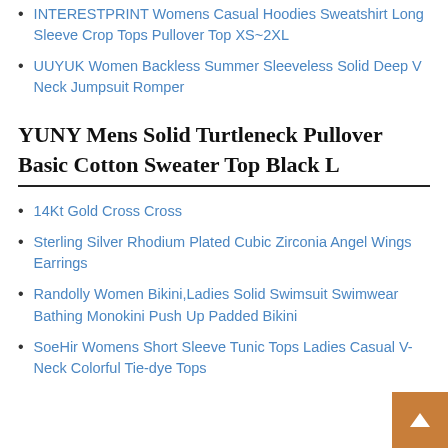INTERESTPRINT Womens Casual Hoodies Sweatshirt Long Sleeve Crop Tops Pullover Top XS~2XL
UUYUK Women Backless Summer Sleeveless Solid Deep V Neck Jumpsuit Romper
YUNY Mens Solid Turtleneck Pullover Basic Cotton Sweater Top Black L
14Kt Gold Cross Cross
Sterling Silver Rhodium Plated Cubic Zirconia Angel Wings Earrings
Randolly Women Bikini,Ladies Solid Swimsuit Swimwear Bathing Monokini Push Up Padded Bikini
SoeHir Womens Short Sleeve Tunic Tops Ladies Casual V-Neck Colorful Tie-dye Tops